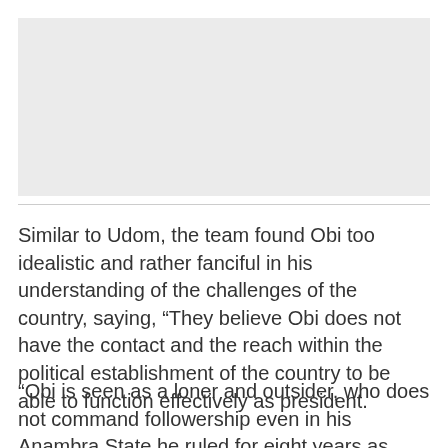[Figure (photo): Image placeholder area at the top of the page]
Similar to Udom, the team found Obi too idealistic and rather fanciful in his understanding of the challenges of the country, saying, “They believe Obi does not have the contact and the reach within the political establishment of the country to be able to function effectively as president.
“Obi is seen as a loner and outsider, who does not command followership even in his Anambra State he ruled for eight years as